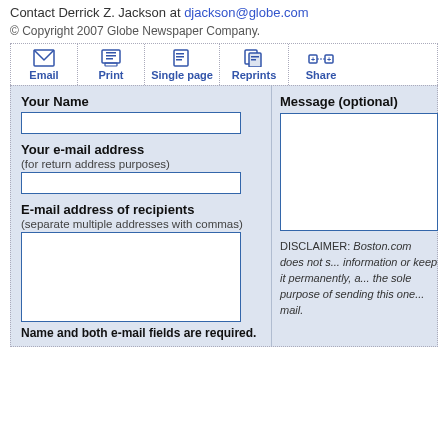Contact Derrick Z. Jackson at djackson@globe.com
© Copyright 2007 Globe Newspaper Company.
[Figure (screenshot): Toolbar with Email, Print, Single page, Reprints, Share buttons]
Your Name
Your e-mail address
(for return address purposes)
E-mail address of recipients
(separate multiple addresses with commas)
Name and both e-mail fields are required.
Message (optional)
DISCLAIMER: Boston.com does not s... information or keep it permanently, a... the sole purpose of sending this one... mail.